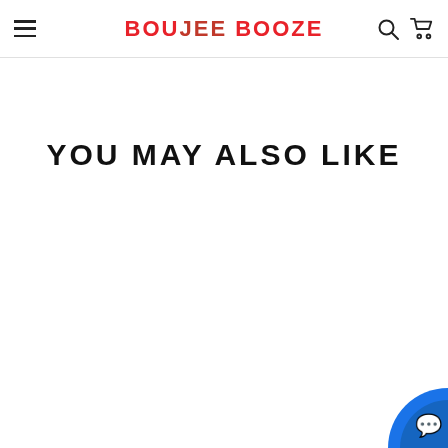BOUJEE BOOZE
YOU MAY ALSO LIKE
[Figure (illustration): Blue circular chat/support button partially visible in bottom-right corner]